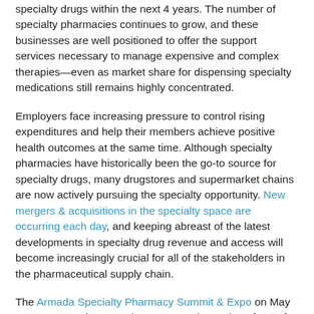specialty drugs within the next 4 years. The number of specialty pharmacies continues to grow, and these businesses are well positioned to offer the support services necessary to manage expensive and complex therapies—even as market share for dispensing specialty medications still remains highly concentrated.
Employers face increasing pressure to control rising expenditures and help their members achieve positive health outcomes at the same time. Although specialty pharmacies have historically been the go-to source for specialty drugs, many drugstores and supermarket chains are now actively pursuing the specialty opportunity. New mergers & acquisitions in the specialty space are occurring each day, and keeping abreast of the latest developments in specialty drug revenue and access will become increasingly crucial for all of the stakeholders in the pharmaceutical supply chain.
The Armada Specialty Pharmacy Summit & Expo on May 5-9, 2014, at The Wynn in Las Vegas is a unique forum for stakeholders to come together and discuss access challenges facing the healthcare industry. Attendees can